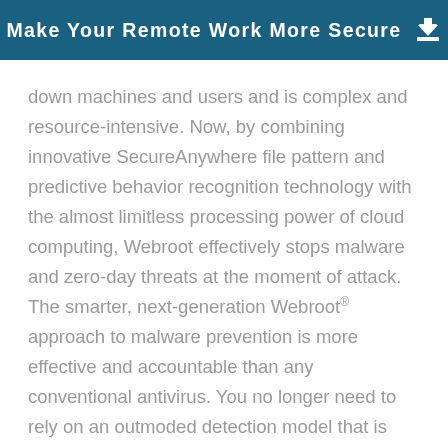Make Your Remote Work More Secure
down machines and users and is complex and resource-intensive. Now, by combining innovative SecureAnywhere file pattern and predictive behavior recognition technology with the almost limitless processing power of cloud computing, Webroot effectively stops malware and zero-day threats at the moment of attack. The smarter, next-generation Webroot® approach to malware prevention is more effective and accountable than any conventional antivirus. You no longer need to rely on an outmoded detection model that is easily overwhelmed by today's malware.